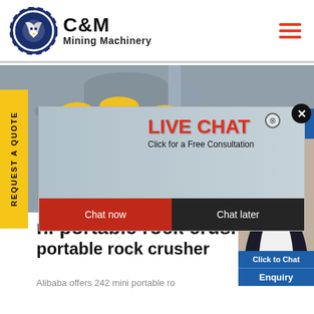[Figure (logo): C&M Mining Machinery logo with eagle in gear icon, navy blue and black text]
[Figure (screenshot): Website screenshot showing C&M Mining Machinery page with live chat popup overlay, industrial background banner, yellow REQUEST A QUOTE sidebar tab, agent photo on right, and partial page title about mini portable rock crusher]
ni portable rock crush portable rock crusher
Alibaba offers 242 mini portable ro...